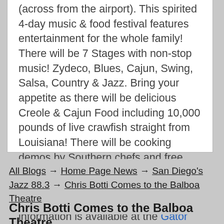(across from the airport). This spirited 4-day music & food festival features entertainment for the whole family! There will be 7 Stages with non-stop music! Zydeco, Blues, Cajun, Swing, Salsa, Country & Jazz. Bring your appetite as there will be delicious Creole & Cajun Food including 10,000 pounds of live crawfish straight from Louisiana! There will be cooking demos by Southern chefs and free dance lessons by some of the finest instructors in the country! Kids 17 and under admitted free. Tickets and information is available at the Gator By The Bay Festival website.
All Blogs → Home Page News → San Diego's Jazz 88.3 → Chris Botti Comes to the Balboa Theatre
Chris Botti Comes to the Balboa Theatre